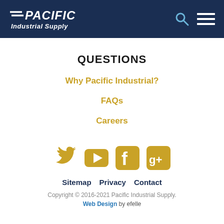PACIFIC Industrial Supply
QUESTIONS
Why Pacific Industrial?
FAQs
Careers
[Figure (infographic): Social media icons row: Twitter (bird), YouTube (play button), Facebook (f), Google+ (g+)]
Sitemap  Privacy  Contact
Copyright © 2016-2021 Pacific Industrial Supply.
Web Design by efelle